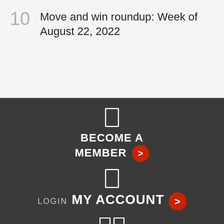10  Move and win roundup: Week of August 22, 2022
BECOME A MEMBER >
LOGIN  MY ACCOUNT >